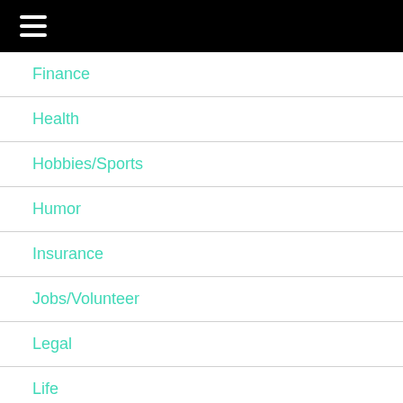Finance
Health
Hobbies/Sports
Humor
Insurance
Jobs/Volunteer
Legal
Life
Relationships
Retirement locations